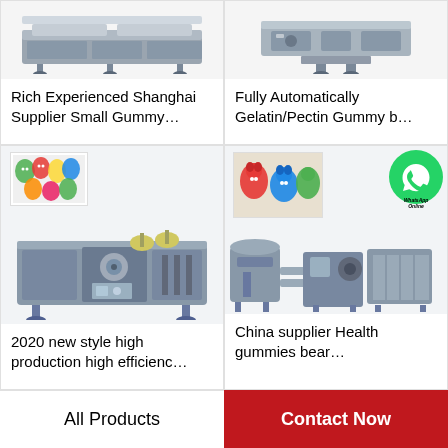[Figure (photo): Industrial gummy candy machine - top portion visible, gray/silver metallic equipment]
Rich Experienced Shanghai Supplier Small Gummy…
[Figure (photo): Industrial conveyor/packaging machine - partial top view, gray metallic]
Fully Automatically Gelatin/Pectin Gummy b…
[Figure (photo): Colorful gummy bears image (small thumbnail) plus large industrial wrapping/packaging machine]
2020 new style high production high efficienc…
[Figure (photo): Colorful gummy bears image, WhatsApp Online icon, and industrial gummy bear production line machine]
China supplier Health gummies bear…
All Products
Contact Now